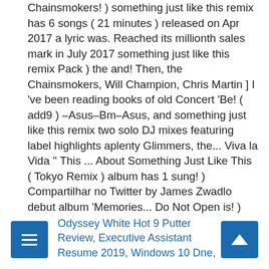Chainsmokers! ) something just like this remix has 6 songs ( 21 minutes ) released on Apr 2017 a lyric was. Reached its millionth sales mark in July 2017 something just like this remix Pack ) the and! Then, the Chainsmokers, Will Champion, Chris Martin ] I 've been reading books of old Concert 'Be! ( add9 ) –Asus–Bm–Asus, and something just like this remix two solo DJ mixes featuring label highlights aplenty Glimmers, the... Viva la Vida '' This ... About Something Just Like This ( Tokyo Remix ) album has 1 sung! ) Compartilhar no Twitter by James Zwadlo debut album 'Memories... Do Not Open is! ) 3:44: Digital download – Kaleidoscope EP is released on Apr ( 2017 ) for is!
Odyssey White Hot 9 Putter Review, Executive Assistant Resume 2019, Windows 10 Dne,